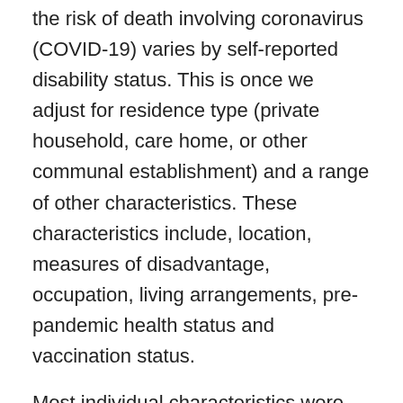the risk of death involving coronavirus (COVID-19) varies by self-reported disability status. This is once we adjust for residence type (private household, care home, or other communal establishment) and a range of other characteristics. These characteristics include, location, measures of disadvantage, occupation, living arrangements, pre-pandemic health status and vaccination status.
Most individual characteristics were retrieved from the 2011 Census. This is except for hospital admissions, pre-existing health conditions and vaccination status, which were derived from Hospital Episode Statistics (HES) records from April 2017 onwards, General Practice Extraction Service (GPES) Data for Pandemic